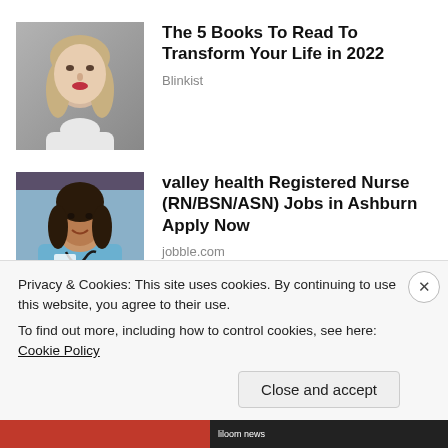[Figure (photo): Portrait photo of a blonde woman with makeup against a grey background, wearing white]
The 5 Books To Read To Transform Your Life in 2022
Blinkist
[Figure (photo): Photo of a Black female nurse in blue scrubs with a stethoscope]
valley health Registered Nurse (RN/BSN/ASN) Jobs in Ashburn Apply Now
jobble.com
Privacy & Cookies: This site uses cookies. By continuing to use this website, you agree to their use.
To find out more, including how to control cookies, see here: Cookie Policy
Close and accept